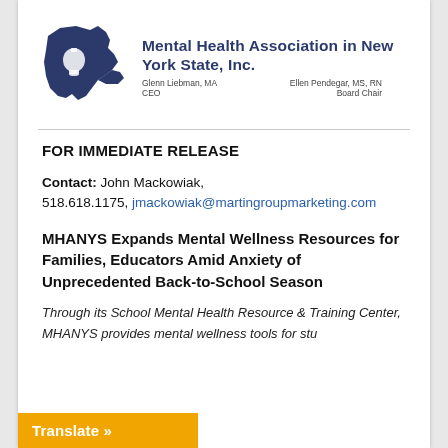[Figure (logo): MHANYS logo: New York State outline in dark navy blue with a bell icon, labeled MHANYS. Next to it: 'Mental Health Association in New York State, Inc.' with sub-labels 'Glenn Liebman, MA CEO' and 'Ellen Pendegar, MS, RN Board Chair'.]
FOR IMMEDIATE RELEASE
Contact: John Mackowiak, 518.618.1175, jmackowiak@martingroupmarketing.com
MHANYS Expands Mental Wellness Resources for Families, Educators Amid Anxiety of Unprecedented Back-to-School Season
Through its School Mental Health Resource & Training Center, MHANYS provides mental wellness tools for students, families